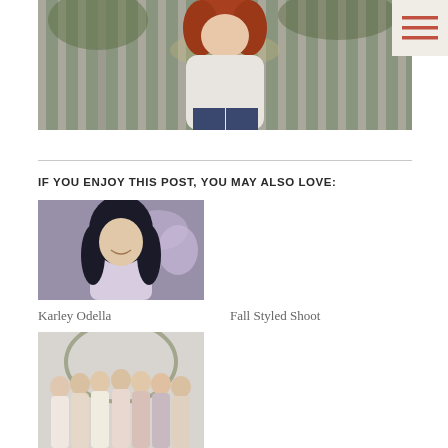[Figure (photo): Young woman with red hair wearing a white cable-knit sweater, leaning on what appears to be a wooden fence or bench, outdoors]
[Figure (other): Hamburger menu icon in the top right corner on a light beige/cream background]
IF YOU ENJOY THIS POST, YOU MAY ALSO LOVE:
[Figure (photo): Young woman with long dark hair smiling, wearing a light top, with purple flowers in the background]
Karley Odella
Fall Styled Shoot
[Figure (photo): Group of young women standing together, wearing various casual outfits in light colors]